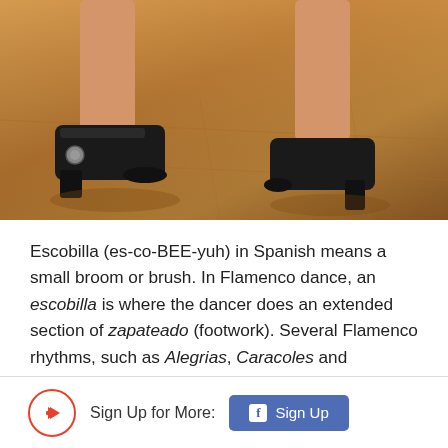[Figure (photo): Close-up photo of flamenco dancer's feet wearing black heeled shoes on a warm-toned wooden floor]
Escobilla (es-co-BEE-yuh) in Spanish means a small broom or brush. In Flamenco dance, an escobilla is where the dancer does an extended section of zapateado (footwork). Several Flamenco rhythms, such as Alegrias, Caracoles and Soleares, have sections of escobilla.
Sign Up for More: Sign Up